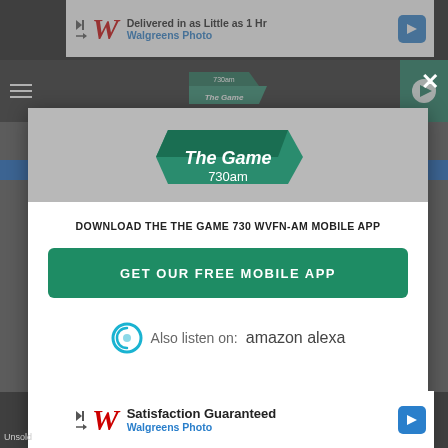[Figure (screenshot): Walgreens Photo top advertisement banner: 'Delivered in as Little as 1 Hr Walgreens Photo']
[Figure (screenshot): The Game 730am radio station navigation bar with hamburger menu, logo, and play button]
[Figure (screenshot): Modal popup dialog for The Game 730am mobile app download]
DOWNLOAD THE THE GAME 730 WVFN-AM MOBILE APP
GET OUR FREE MOBILE APP
Also listen on: amazon alexa
[Figure (screenshot): Walgreens Photo bottom advertisement banner: 'Satisfaction Guaranteed Walgreens Photo']
Unsold